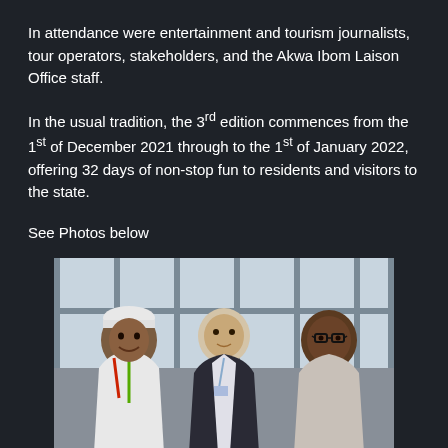In attendance were entertainment and tourism journalists, tour operators, stakeholders, and the Akwa Ibom Laison Office staff.
In the usual tradition, the 3rd edition commences from the 1st of December 2021 through to the 1st of January 2022, offering 32 days of non-stop fun to residents and visitors to the state.
See Photos below
[Figure (photo): Three men posing together indoors near large windows. Left man wears a white cap and white t-shirt. Middle man wears a dark blazer with a lanyard. Right man wears glasses and a light-colored shirt.]